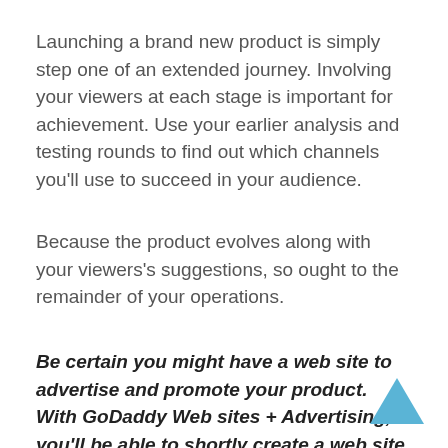Launching a brand new product is simply step one of an extended journey. Involving your viewers at each stage is important for achievement. Use your earlier analysis and testing rounds to find out which channels you'll use to succeed in your audience.
Because the product evolves along with your viewers's suggestions, so ought to the remainder of your operations.
Be certain you might have a web site to advertise and promote your product. With GoDaddy Web sites + Advertising, you'll be able to shortly create a web site, promote on-line, use electronic mail advertising and marketing, and extra, all with